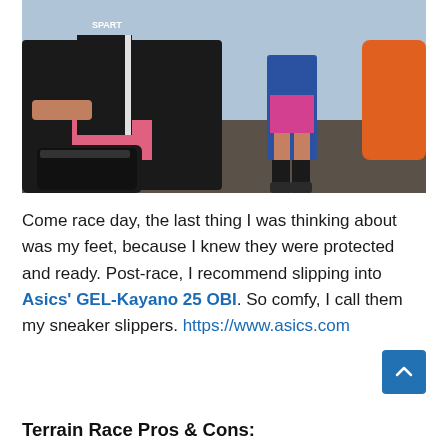[Figure (photo): Athletes at a race event. A person sitting on the ground tying black running shoes with compression socks, wearing a Spartan-branded outfit. Another person standing in blue shorts and black knee socks visible in the background.]
Come race day, the last thing I was thinking about was my feet, because I knew they were protected and ready. Post-race, I recommend slipping into Asics' GEL-Kayano 25 OBI. So comfy, I call them my sneaker slippers. https://www.asics.com
Terrain Race Pros & Cons: